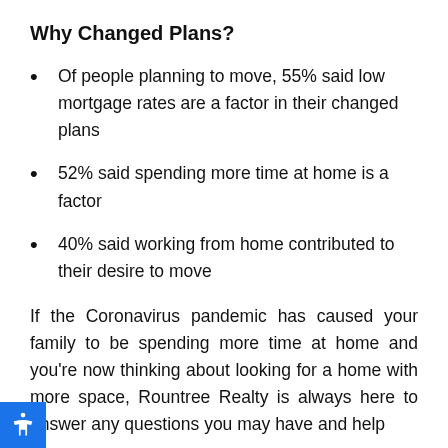Why Changed Plans?
Of people planning to move, 55% said low mortgage rates are a factor in their changed plans
52% said spending more time at home is a factor
40% said working from home contributed to their desire to move
If the Coronavirus pandemic has caused your family to be spending more time at home and you're now thinking about looking for a home with more space, Rountree Realty is always here to answer any questions you may have and help